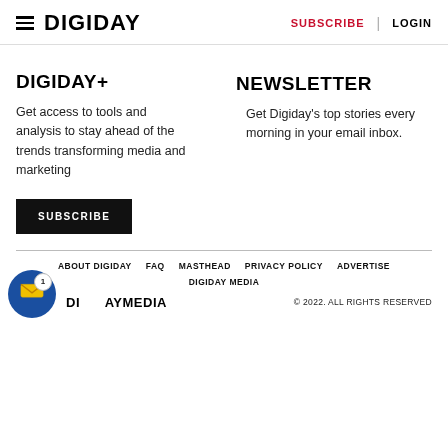DIGIDAY | SUBSCRIBE | LOGIN
DIGIDAY+
Get access to tools and analysis to stay ahead of the trends transforming media and marketing
SUBSCRIBE
NEWSLETTER
Get Digiday's top stories every morning in your email inbox.
ABOUT DIGIDAY | FAQ | MASTHEAD | PRIVACY POLICY | ADVERTISE | DIGIDAY MEDIA | © 2022. ALL RIGHTS RESERVED